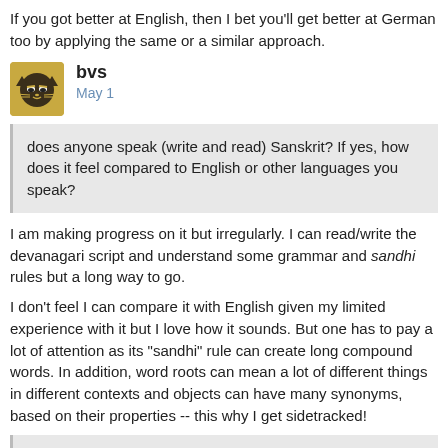If you got better at English, then I bet you'll get better at German too by applying the same or a similar approach.
bvs
May 1
does anyone speak (write and read) Sanskrit? If yes, how does it feel compared to English or other languages you speak?
I am making progress on it but irregularly. I can read/write the devanagari script and understand some grammar and sandhi rules but a long way to go.
I don't feel I can compare it with English given my limited experience with it but I love how it sounds. But one has to pay a lot of attention as its "sandhi" rule can create long compound words. In addition, word roots can mean a lot of different things in different contexts and objects can have many synonyms, based on their properties -- this why I get sidetracked!
I am asking because I think about learning Sanskrit to improve my thinking.